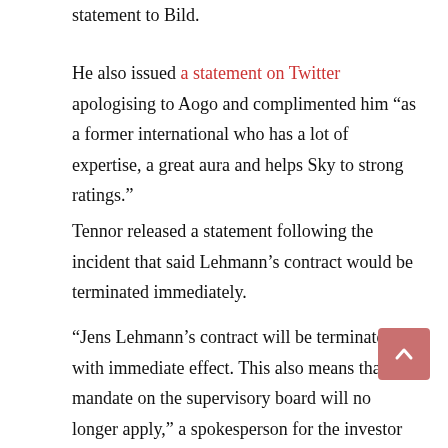statement to Bild.
He also issued a statement on Twitter apologising to Aogo and complimented him “as a former international who has a lot of expertise, a great aura and helps Sky to strong ratings.”
Tennor released a statement following the incident that said Lehmann’s contract would be terminated immediately.
“Jens Lehmann’s contract will be terminated with immediate effect. This also means that his mandate on the supervisory board will no longer apply,” a spokesperson for the investor group told Die Welt.
“We personally regret this, but it is not compatible with the principles of Tennor and [investor] Lars Windhorst. Especially